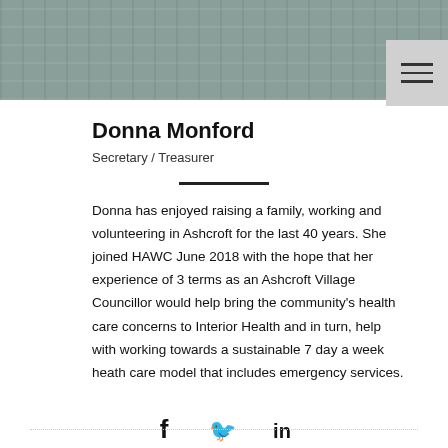[Figure (photo): Photo banner showing a plaid/checkered fabric texture in muted teal and grey tones, spanning the top of the page]
Donna Monford
Secretary / Treasurer
Donna has enjoyed raising a family, working and volunteering in Ashcroft for the last 40 years. She joined HAWC June 2018 with the hope that her experience of 3 terms as an Ashcroft Village Councillor would help bring the community's health care concerns to Interior Health and in turn, help with working towards a sustainable 7 day a week heath care model that includes emergency services.
[Figure (infographic): Social media icons: Facebook (f), Twitter (bird), LinkedIn (in)]